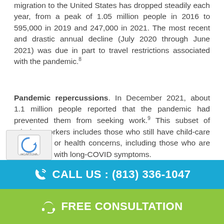migration to the United States has dropped steadily each year, from a peak of 1.05 million people in 2016 to 595,000 in 2019 and 247,000 in 2021. The most recent and drastic annual decline (July 2020 through June 2021) was due in part to travel restrictions associated with the pandemic.8
Pandemic repercussions. In December 2021, about 1.1 million people reported that the pandemic had prevented them from seeking work.9 This subset of missing workers includes those who still have child-care challenges or health concerns, including those who are contending with long-COVID symptoms.
On a positive note, pandemic relief measures helped many households strengthen their finances. Trillions of dollars in excess savings were accumulated thanks to stimulus payments, student loan pauses, and reduced spending while people were stuck at home during 2020. This extra
CALL US : (813) 336-1047
FREE CONSULTATION